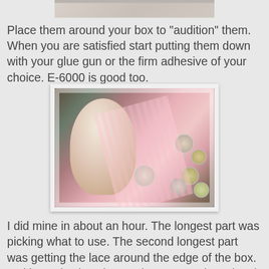[Figure (photo): Partial view of a crafting photo at the top of the page, cropped]
Place them around your box to "audition" them. When you are satisfied start putting them down with your glue gun or the firm adhesive of your choice. E-6000 is good too.
[Figure (photo): A heart-shaped pin cushion decorated with a vintage Victorian girl paper doll holding flowers, pink striped fabric, white lace trim, surrounded by various buttons in yellow, cream, green, and pearl colors on a dark wooden surface.]
I did mine in about an hour. The longest part was picking what to use. The second longest part was getting the lace around the edge of the box. Making selections is mandatory. Lace is optional! Voila!